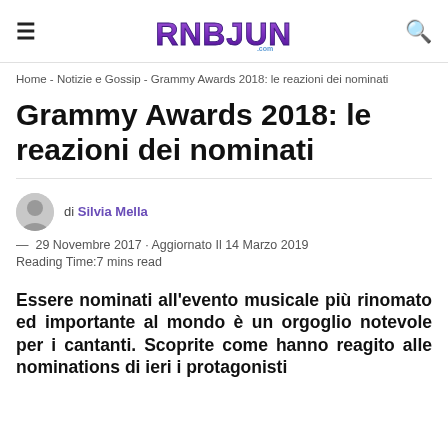RNBJUNK.com
Home - Notizie e Gossip - Grammy Awards 2018: le reazioni dei nominati
Grammy Awards 2018: le reazioni dei nominati
di Silvia Mella
— 29 Novembre 2017 · Aggiornato Il 14 Marzo 2019
Reading Time:7 mins read
Essere nominati all'evento musicale più rinomato ed importante al mondo è un orgoglio notevole per i cantanti. Scoprite come hanno reagito alle nominations di ieri i protagonisti